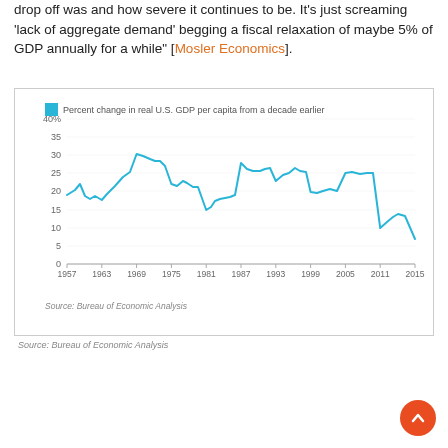drop off was and how severe it continues to be. It's just screaming 'lack of aggregate demand' begging a fiscal relaxation of maybe 5% of GDP annually for a while" [Mosler Economics].
[Figure (line-chart): Percent change in real U.S. GDP per capita from a decade earlier]
Source: Bureau of Economic Analysis